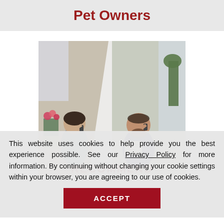Pet Owners
[Figure (photo): Two photos side by side: a woman talking on a phone near a window with flowers, and a man talking on a phone while looking at a document]
RECOMMEND
This website uses cookies to help provide you the best experience possible. See our Privacy Policy for more information. By continuing without changing your cookie settings within your browser, you are agreeing to our use of cookies.
ACCEPT